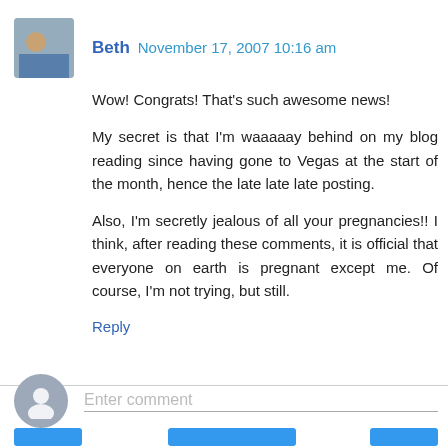[Figure (photo): Small square avatar photo of Beth, showing a person with colorful background]
Beth November 17, 2007 10:16 am
Wow! Congrats! That's such awesome news!

My secret is that I'm waaaaay behind on my blog reading since having gone to Vegas at the start of the month, hence the late late late posting.

Also, I'm secretly jealous of all your pregnancies!! I think, after reading these comments, it is official that everyone on earth is pregnant except me. Of course, I'm not trying, but still.
Reply
Enter comment